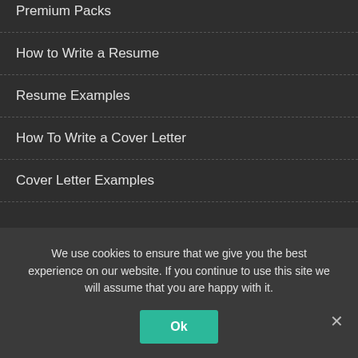Premium Packs
How to Write a Resume
Resume Examples
How To Write a Cover Letter
Cover Letter Examples
SUPPORT
License
We use cookies to ensure that we give you the best experience on our website. If you continue to use this site we will assume that you are happy with it.